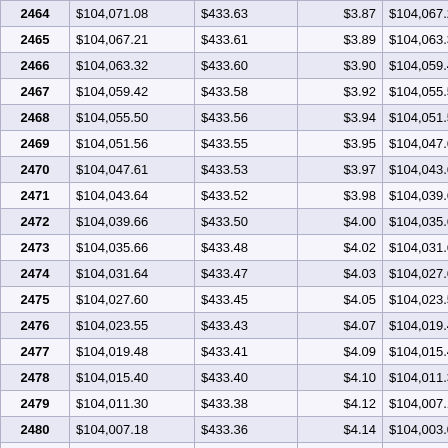| 2464 | $104,071.08 | $433.63 | $3.87 | $104,067.21 |
| 2465 | $104,067.21 | $433.61 | $3.89 | $104,063.32 |
| 2466 | $104,063.32 | $433.60 | $3.90 | $104,059.42 |
| 2467 | $104,059.42 | $433.58 | $3.92 | $104,055.50 |
| 2468 | $104,055.50 | $433.56 | $3.94 | $104,051.56 |
| 2469 | $104,051.56 | $433.55 | $3.95 | $104,047.61 |
| 2470 | $104,047.61 | $433.53 | $3.97 | $104,043.64 |
| 2471 | $104,043.64 | $433.52 | $3.98 | $104,039.66 |
| 2472 | $104,039.66 | $433.50 | $4.00 | $104,035.66 |
| 2473 | $104,035.66 | $433.48 | $4.02 | $104,031.64 |
| 2474 | $104,031.64 | $433.47 | $4.03 | $104,027.60 |
| 2475 | $104,027.60 | $433.45 | $4.05 | $104,023.55 |
| 2476 | $104,023.55 | $433.43 | $4.07 | $104,019.48 |
| 2477 | $104,019.48 | $433.41 | $4.09 | $104,015.40 |
| 2478 | $104,015.40 | $433.40 | $4.10 | $104,011.30 |
| 2479 | $104,011.30 | $433.38 | $4.12 | $104,007.18 |
| 2480 | $104,007.18 | $433.36 | $4.14 | $104,003.04 |